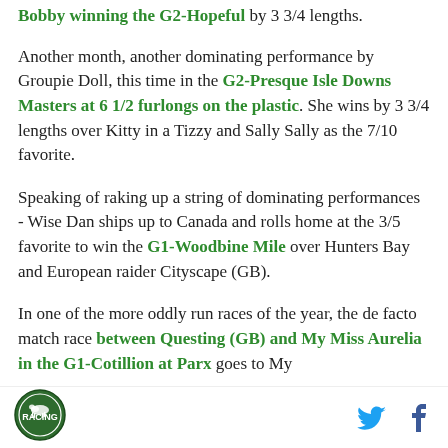Bobby winning the G2-Hopeful by 3 3/4 lengths.
Another month, another dominating performance by Groupie Doll, this time in the G2-Presque Isle Downs Masters at 6 1/2 furlongs on the plastic. She wins by 3 3/4 lengths over Kitty in a Tizzy and Sally Sally as the 7/10 favorite.
Speaking of raking up a string of dominating performances - Wise Dan ships up to Canada and rolls home at the 3/5 favorite to win the G1-Woodbine Mile over Hunters Bay and European raider Cityscape (GB).
In one of the more oddly run races of the year, the de facto match race between Questing (GB) and My Miss Aurelia in the G1-Cotillion at Parx goes to My
[Figure (logo): Circular green logo with horse racing imagery]